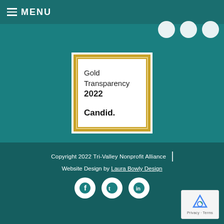MENU
[Figure (logo): Gold Transparency 2022 Candid. badge with teal outer border, gold inner border, and white center]
Copyright 2022 Tri-Valley Nonprofit Alliance | Website Design by Laura Bowly Design